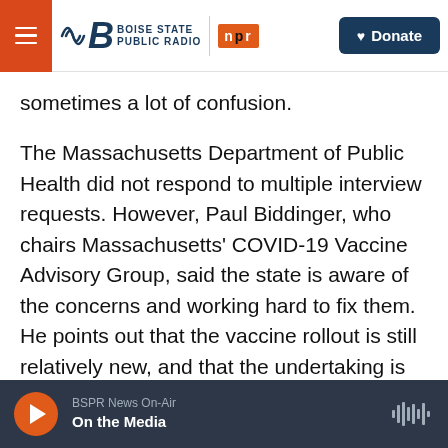Boise State Public Radio | NPR | Donate
sometimes a lot of confusion.
The Massachusetts Department of Public Health did not respond to multiple interview requests. However, Paul Biddinger, who chairs Massachusetts' COVID-19 Vaccine Advisory Group, said the state is aware of the concerns and working hard to fix them. He points out that the vaccine rollout is still relatively new, and that the undertaking is enormous.
"This is more complex by orders of magnitude than any normal vaccination campaign, whether it's the
BSPR News On-Air | On the Media